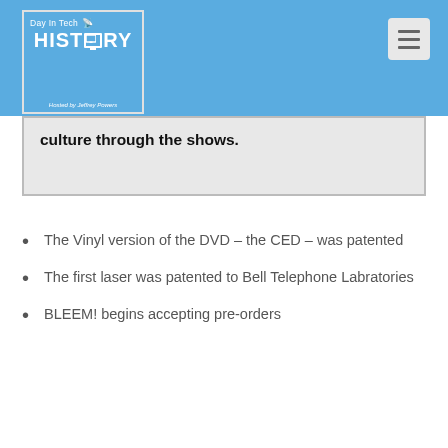[Figure (logo): Day in Tech HISTORY podcast logo with monitor icon, on blue background, hosted by Jeffrey Powers]
culture through the shows.
The Vinyl version of the DVD – the CED – was patented
The first laser was patented to Bell Telephone Labratories
BLEEM! begins accepting pre-orders